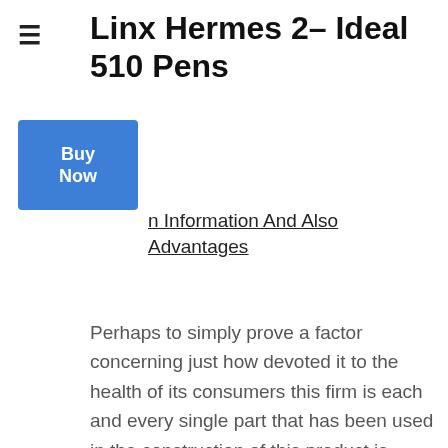Linx Hermes 2– Ideal 510 Pens
n Information And Also Advantages
Perhaps to simply prove a factor concerning just how devoted it to the health of its consumers this firm is each and every single part that has been used in the construction of this product is made for medical-grade tools. This means that not just will the taste of your vaporizers vapor make certain it will certainly likewise be as